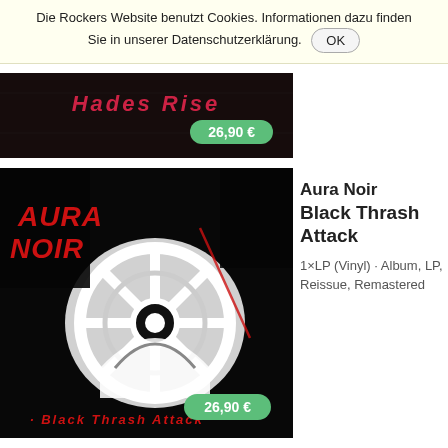Die Rockers Website benutzt Cookies. Informationen dazu finden Sie in unserer Datenschutzerklärung. OK
[Figure (photo): Partial album cover with dark background, red stylized text reading 'Hades Rise', price badge showing 26,90 €]
[Figure (photo): Album cover for Aura Noir - Black Thrash Attack: black and white high contrast image with red stylized band name text at top left and album title in red at bottom, circular gear/wheel graphic in center, price badge showing 26,90 €]
Aura Noir
Black Thrash Attack
1×LP (Vinyl) · Album, LP, Reissue, Remastered